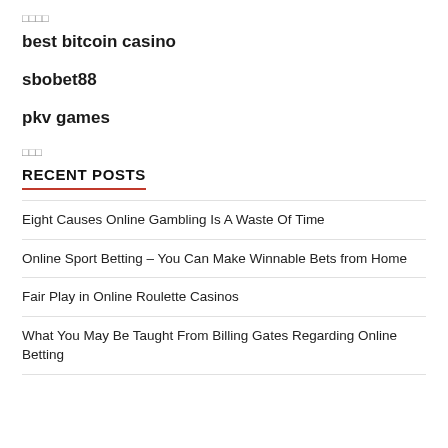□□□□
best bitcoin casino
sbobet88
pkv games
□□□
RECENT POSTS
Eight Causes Online Gambling Is A Waste Of Time
Online Sport Betting – You Can Make Winnable Bets from Home
Fair Play in Online Roulette Casinos
What You May Be Taught From Billing Gates Regarding Online Betting